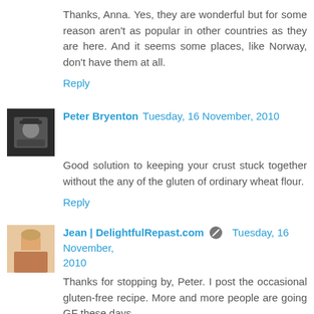Thanks, Anna. Yes, they are wonderful but for some reason aren't as popular in other countries as they are here. And it seems some places, like Norway, don't have them at all.
Reply
Peter Bryenton  Tuesday, 16 November, 2010
Good solution to keeping your crust stuck together without the any of the gluten of ordinary wheat flour.
Reply
Jean | DelightfulRepast.com  Tuesday, 16 November, 2010
Thanks for stopping by, Peter. I post the occasional gluten-free recipe. More and more people are going GF these days.
Reply